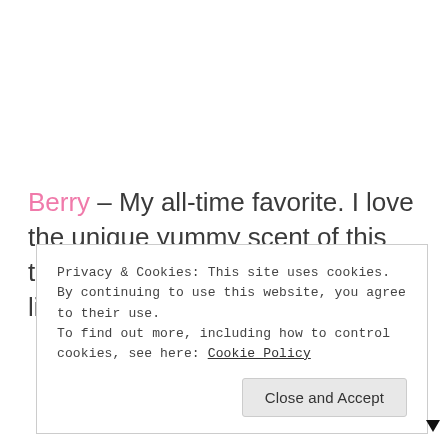Berry – My all-time favorite. I love the unique yummy scent of this that reminds me of those classic lip balms in the past.
Privacy & Cookies: This site uses cookies. By continuing to use this website, you agree to their use.
To find out more, including how to control cookies, see here: Cookie Policy
Close and Accept